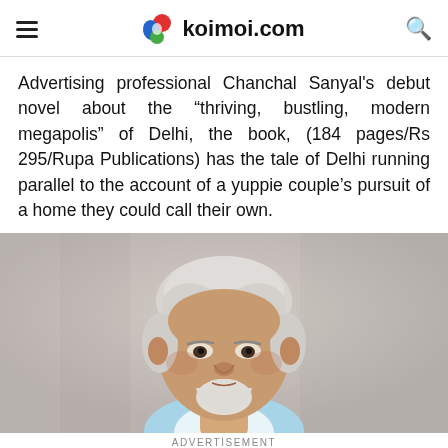koimoi.com
Advertising professional Chanchal Sanyal's debut novel about the “thriving, bustling, modern megapolis” of Delhi, the book, (184 pages/Rs 295/Rupa Publications) has the tale of Delhi running parallel to the account of a yuppie couple’s pursuit of a home they could call their own.
[Figure (photo): Close-up photo of an older man with white/grey hair and a short white beard and moustache, wearing a light blue collar, against a blurred background.]
ADVERTISEMENT
[Figure (infographic): Advertisement banner: circular logo with infinity symbol, text 'Save Up to 65%', blue diamond arrow button on the right.]